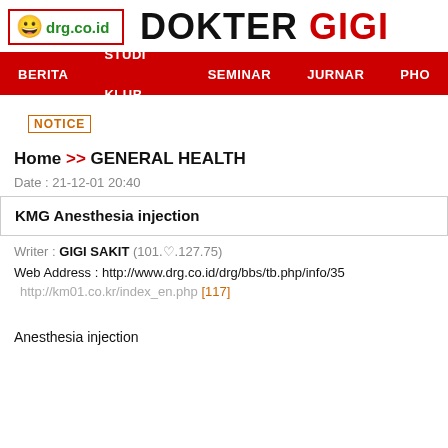drg.co.id | DOKTER GIGI
BERITA | STUDI KLUB | SEMINAR | JURNAR | PHO
NOTICE
Home >> GENERAL HEALTH
Date : 21-12-01 20:40
KMG Anesthesia injection
Writer : GIGI SAKIT (101.♡.127.75)
Web Address : http://www.drg.co.id/drg/bbs/tb.php/info/35
http://km01.co.kr/index_en.php [117]
Anesthesia injection